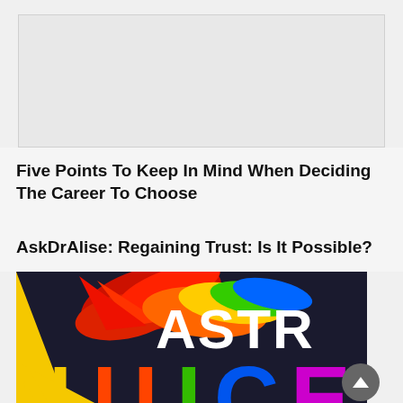[Figure (other): Gray placeholder/advertisement box at the top of the page]
Five Points To Keep In Mind When Deciding The Career To Choose
AskDrAlise: Regaining Trust: Is It Possible?
[Figure (illustration): Colorful astrology/ASTRO logo image with rainbow paintbrush strokes on dark background, partially cropped]